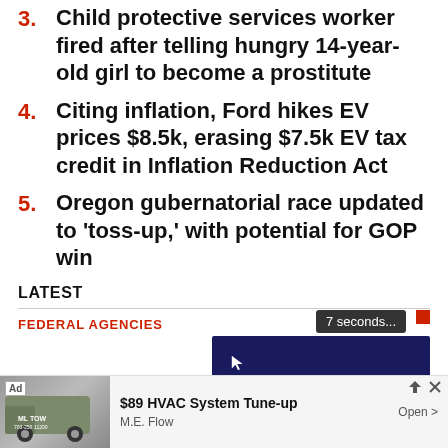3. Child protective services worker fired after telling hungry 14-year-old girl to become a prostitute
4. Citing inflation, Ford hikes EV prices $8.5k, erasing $7.5k EV tax credit in Inflation Reduction Act
5. Oregon gubernatorial race updated to 'toss-up,' with potential for GOP win
LATEST
FEDERAL AGENCIES
[Figure (screenshot): Video player showing Just the News Hot Noise logo on dark blue background with playback controls. A '7 seconds...' badge appears top right, and a red square indicator. A close X button is visible.]
[Figure (photo): Advertisement bar at bottom: Ad badge, van photo, '$89 HVAC System Tune-up' by M.E. Flow with Open button]